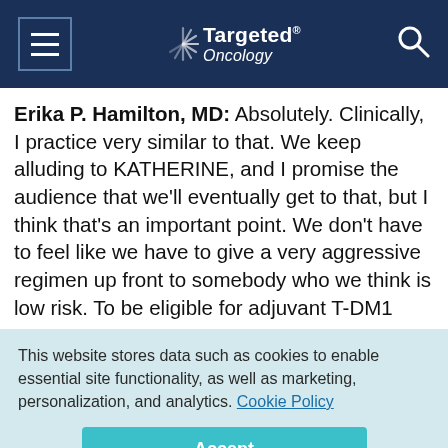Targeted Oncology
Erika P. Hamilton, MD: Absolutely. Clinically, I practice very similar to that. We keep alluding to KATHERINE, and I promise the audience that we'll eventually get to that, but I think that's an important point. We don't have to feel like we have to give a very aggressive regimen up front to somebody who we think is low risk. To be eligible for adjuvant T-DM1
This website stores data such as cookies to enable essential site functionality, as well as marketing, personalization, and analytics. Cookie Policy
Accept
Deny